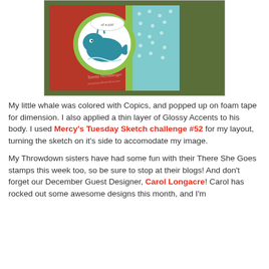[Figure (photo): A handmade greeting card featuring a teal cartoon whale on a scalloped white circle, set against red and teal patterned paper with green accents. The whale has a speech bubble. The card is photographed at a slight angle.]
My little whale was colored with Copics, and popped up on foam tape for dimension. I also applied a thin layer of Glossy Accents to his body. I used Mercy's Tuesday Sketch challenge #52 for my layout, turning the sketch on it's side to accomodate my image.
My Throwdown sisters have had some fun with their There She Goes stamps this week too, so be sure to stop at their blogs! And don't forget our December Guest Designer, Carol Longacre! Carol has rocked out some awesome designs this month, and I'm